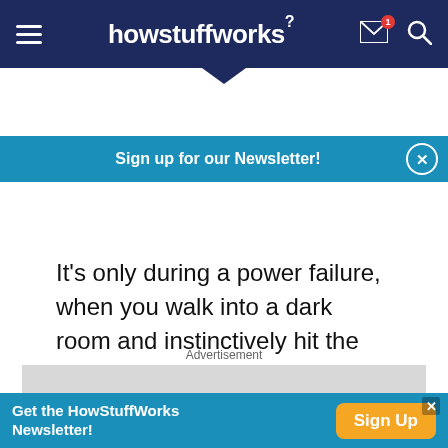howstuffworks
Sign up for our Newsletter!
It's only during a power failure, when you walk into a dark room and instinctively hit the useless light switch that you realize how important power is in your daily life.
Advertisement
[Figure (other): Grey advertisement placeholder box]
Get the HowStuffWorks Newsletter!